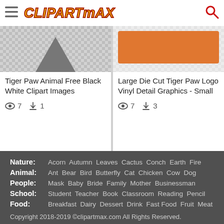[Figure (logo): ClipArtMax website header with hamburger menu icon, ClipArtMax logo in yellow/orange italic bold font, and red search icon]
[Figure (screenshot): Left card: Tiger Paw Animal Free Black White Clipart Images, views:7, downloads:1]
Tiger Paw Animal Free Black White Clipart Images
7  1
[Figure (screenshot): Right card: Large Die Cut Tiger Paw Logo Vinyl Detail Graphics - Small, views:7, downloads:3]
Large Die Cut Tiger Paw Logo Vinyl Detail Graphics - Small
7  3
Nature: Acorn  Autumn  Leaves  Cactus  Conch  Earth  Fire
Animal: Ant  Bear  Bird  Butterfly  Cat  Chicken  Cow  Dog
People: Mask  Baby  Bride  Family  Mother  Businessman
School: Student  Teacher  Book  Classroom  Reading  Pencil
Food: Breakfast  Dairy  Dessert  Drink  Fast Food  Fruit  Meat
Copyright 2018-2019 ©clipartmax.com All Rights Reserved.
About  Terms  Privcy Policy  Contact  DMCA  Upload PNG